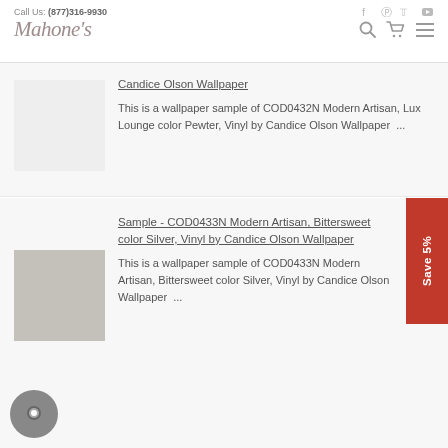Call Us: (877)316-9930 | Mahone's
Candice Olson Wallpaper
This is a wallpaper sample of COD0432N Modern Artisan, Lux Lounge color Pewter, Vinyl by Candice Olson Wallpaper ...
Sample - COD0433N Modern Artisan, Bittersweet color Silver, Vinyl by Candice Olson Wallpaper
This is a wallpaper sample of COD0433N Modern Artisan, Bittersweet color Silver, Vinyl by Candice Olson Wallpaper ...